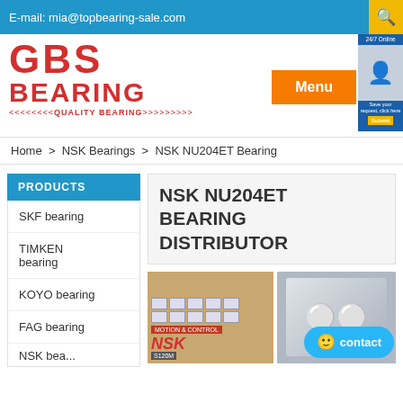E-mail: mia@topbearing-sale.com
[Figure (logo): GBS Bearing logo in red with quality bearing tagline]
Menu
Home > NSK Bearings > NSK NU204ET Bearing
PRODUCTS
SKF bearing
TIMKEN bearing
KOYO bearing
FAG bearing
NSK NU204ET BEARING DISTRIBUTOR
[Figure (photo): NSK bearing boxes stacked in storage/shipping box]
[Figure (photo): NSK bearings in a box close-up view]
contact